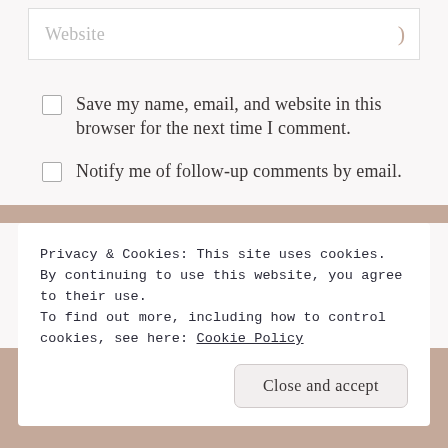Website
Save my name, email, and website in this browser for the next time I comment.
Notify me of follow-up comments by email.
Notify me of new posts by email.
Post Comment
Privacy & Cookies: This site uses cookies. By continuing to use this website, you agree to their use.
To find out more, including how to control cookies, see here: Cookie Policy
Close and accept